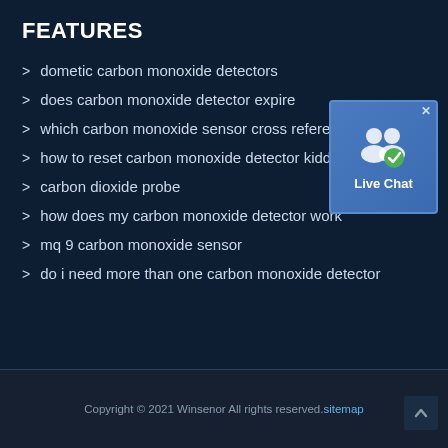FEATURES
dometic carbon monoxide detectors
does carbon monoxide detector expire
[Figure (other): Live Chat widget with two user icons and a chat bubble icon]
which carbon monoxide sensor cross reference
how to reset carbon monoxide detector kidde
carbon dioxide probe
how does my carbon monoxide detector work
mq 9 carbon monoxide sensor
do i need more than one carbon monoxide detector
Copyright © 2021 Winsenor All rights reserved. sitemap